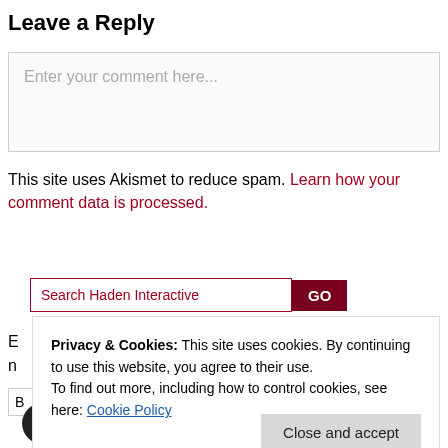Leave a Reply
[Figure (screenshot): Comment text area with placeholder 'Enter your comment here...']
This site uses Akismet to reduce spam. Learn how your comment data is processed.
[Figure (screenshot): Search bar with placeholder 'Search Haden Interactive' and a GO button]
Privacy & Cookies: This site uses cookies. By continuing to use this website, you agree to their use. To find out more, including how to control cookies, see here: Cookie Policy
Close and accept